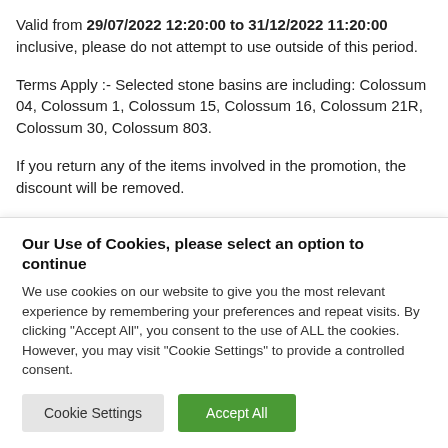Valid from 29/07/2022 12:20:00 to 31/12/2022 11:20:00 inclusive, please do not attempt to use outside of this period.
Terms Apply :- Selected stone basins are including: Colossum 04, Colossum 1, Colossum 15, Colossum 16, Colossum 21R, Colossum 30, Colossum 803.
If you return any of the items involved in the promotion, the discount will be removed.
Our Use of Cookies, please select an option to continue
We use cookies on our website to give you the most relevant experience by remembering your preferences and repeat visits. By clicking "Accept All", you consent to the use of ALL the cookies. However, you may visit "Cookie Settings" to provide a controlled consent.